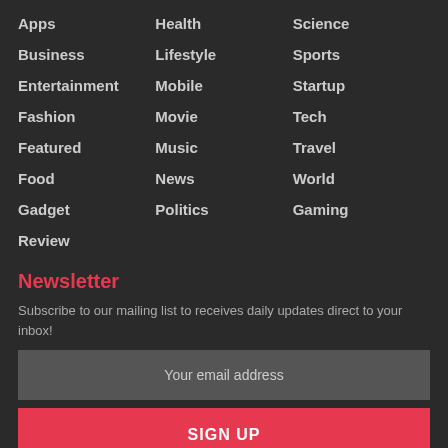Apps
Health
Science
Business
Lifestyle
Sports
Entertainment
Mobile
Startup
Fashion
Movie
Tech
Featured
Music
Travel
Food
News
World
Gadget
Politics
Gaming
Review
Newsletter
Subscribe to our mailing list to receives daily updates direct to your inbox!
Your email address
SIGN UP